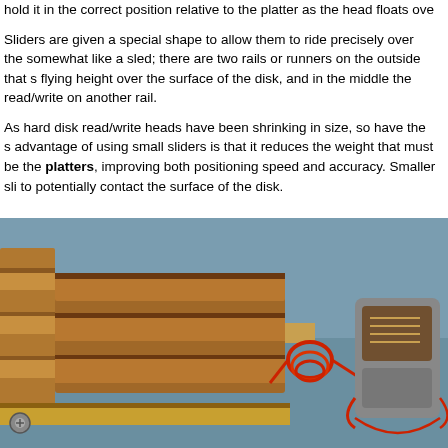hold it in the correct position relative to the platter as the head floats over
Sliders are given a special shape to allow them to ride precisely over the somewhat like a sled; there are two rails or runners on the outside that s flying height over the surface of the disk, and in the middle the read/write on another rail.
As hard disk read/write heads have been shrinking in size, so have the s advantage of using small sliders is that it reduces the weight that must be the platters, improving both positioning speed and accuracy. Smaller sli to potentially contact the surface of the disk.
[Figure (photo): Close-up photograph of hard disk read/write head sliders. On the left is a larger older-style slider with copper/gold-colored rails visible, connected by a red wire coil to a smaller modern slider on the right, both on a blue-grey background.]